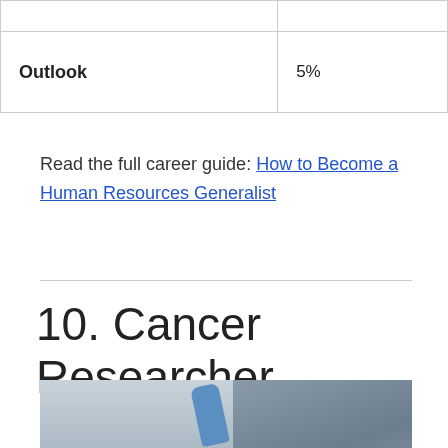| Outlook | 5% |
Read the full career guide: How to Become a Human Resources Generalist
10. Cancer Researcher
[Figure (photo): A laboratory scene showing a researcher wearing blue gloves and a face mask, working in a scientific lab setting. An advertisement overlay from Victoria's Secret is visible at the bottom with a CLOSE button.]